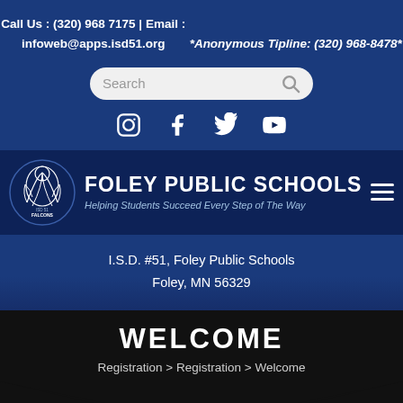Call Us : (320) 968 7175 | Email : infoweb@apps.isd51.org
*Anonymous Tipline: (320) 968-8478*
[Figure (screenshot): Search bar with magnifying glass icon]
[Figure (infographic): Social media icons: Instagram, Facebook, Twitter, YouTube]
[Figure (logo): Foley Public Schools Falcon mascot logo with school name and tagline: Helping Students Succeed Every Step of The Way]
I.S.D. #51, Foley Public Schools
Foley, MN 56329
WELCOME
Registration > Registration > Welcome